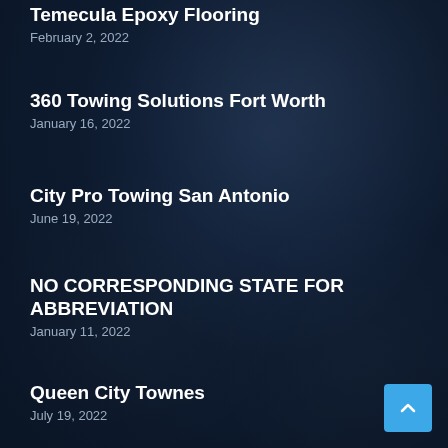Temecula Epoxy Flooring
February 2, 2022
360 Towing Solutions Fort Worth
January 16, 2022
City Pro Towing San Antonio
June 19, 2022
NO CORRESPONDING STATE FOR ABBREVIATION
January 11, 2022
Queen City Townes
July 19, 2022